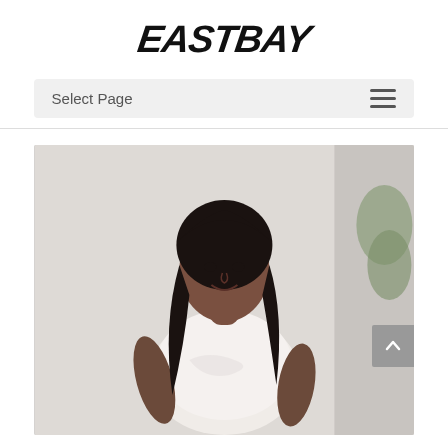[Figure (logo): Eastbay logo in bold italic black text]
Select Page
[Figure (photo): A young woman with long dark hair wearing a white Nike t-shirt, smiling, photographed outdoors against a light background with a tree visible on the right side]